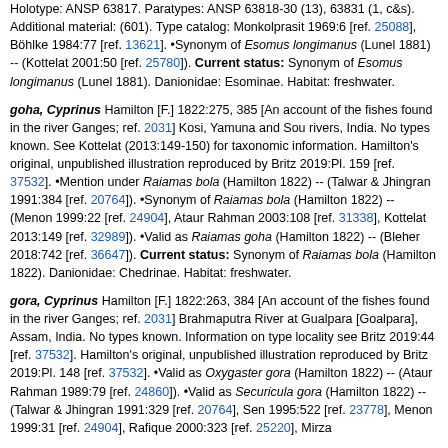Holotype: ANSP 63817. Paratypes: ANSP 63818-30 (13), 63831 (1, c&s). Additional material: (601). Type catalog: Monkolprasit 1969:6 [ref. 25088], Böhlke 1984:77 [ref. 13621]. •Synonym of Esomus longimanus (Lunel 1881) -- (Kottelat 2001:50 [ref. 25780]). Current status: Synonym of Esomus longimanus (Lunel 1881). Danionidae: Esominae. Habitat: freshwater.
goha, Cyprinus Hamilton [F.] 1822:275, 385 [An account of the fishes found in the river Ganges; ref. 2031] Kosi, Yamuna and Sou rivers, India. No types known. See Kottelat (2013:149-150) for taxonomic information. Hamilton's original, unpublished illustration reproduced by Britz 2019:Pl. 159 [ref. 37532]. •Mention under Raiamas bola (Hamilton 1822) -- (Talwar & Jhingran 1991:384 [ref. 20764]). •Synonym of Raiamas bola (Hamilton 1822) -- (Menon 1999:22 [ref. 24904], Ataur Rahman 2003:108 [ref. 31338], Kottelat 2013:149 [ref. 32989]). •Valid as Raiamas goha (Hamilton 1822) -- (Bleher 2018:742 [ref. 36647]). Current status: Synonym of Raiamas bola (Hamilton 1822). Danionidae: Chedrinae. Habitat: freshwater.
gora, Cyprinus Hamilton [F.] 1822:263, 384 [An account of the fishes found in the river Ganges; ref. 2031] Brahmaputra River at Gualpara [Goalpara], Assam, India. No types known. Information on type locality see Britz 2019:44 [ref. 37532]. Hamilton's original, unpublished illustration reproduced by Britz 2019:Pl. 148 [ref. 37532]. •Valid as Oxygaster gora (Hamilton 1822) -- (Ataur Rahman 1989:79 [ref. 24860]). •Valid as Securicula gora (Hamilton 1822) -- (Talwar & Jhingran 1991:329 [ref. 20764], Sen 1995:522 [ref. 23778], Menon 1999:31 [ref. 24904], Rafique 2000:323 [ref. 25220], Mirza